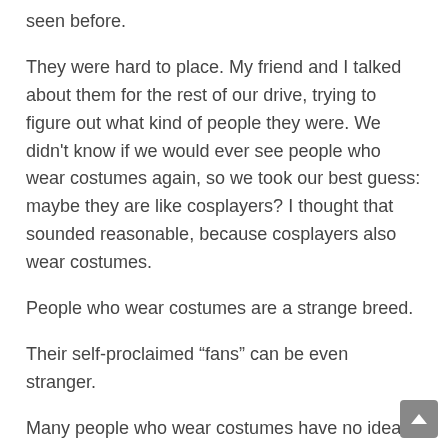seen before.
They were hard to place. My friend and I talked about them for the rest of our drive, trying to figure out what kind of people they were. We didn’t know if we would ever see people who wear costumes again, so we took our best guess: maybe they are like cosplayers? I thought that sounded reasonable, because cosplayers also wear costumes.
People who wear costumes are a strange breed.
Their self-proclaimed “fans” can be even stranger.
Many people who wear costumes have no idea how to deal with these fans, and it shows.